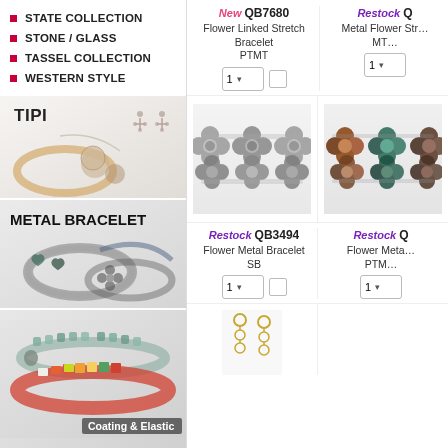STATE COLLECTION
STONE / GLASS
TASSEL COLLECTION
WESTERN STYLE
[Figure (photo): TIPI branded jewelry category banner showing necklace and earrings]
[Figure (photo): METAL BRACELET category banner showing various metal bracelets]
[Figure (photo): Coating & Elastic category banner showing beaded bracelets]
New QB7680 Flower Linked Stretch Bracelet PTMT
Restock QB (truncated) Metal Flower Stretch Bracelet MTM (truncated)
[Figure (photo): Silver/gunmetal flower linked stretch bracelet QB3494]
[Figure (photo): Multi-colored (teal/copper/brown) flower linked stretch bracelet]
Restock QB3494 Flower Metal Bracelet SB
Restock QB (truncated) Flower Metal Bracelet PTM (truncated)
[Figure (photo): Gold dangling earrings partially visible at bottom]